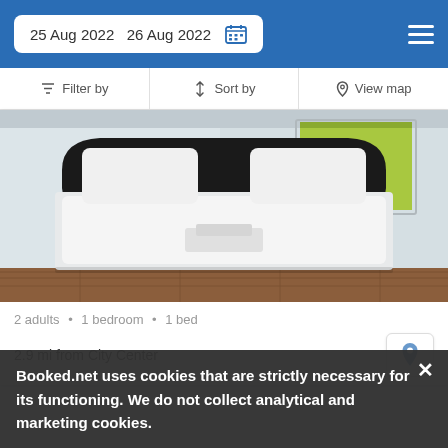25 Aug 2022  26 Aug 2022
Filter by  Sort by  View map
[Figure (photo): Hotel room photo showing a double bed with white linen and pillows, black headboard, green roller blind on window, hardwood style floor]
2 adults • 1 bedroom • 1 bed
2.9 mi from City Center
Booked.net uses cookies that are strictly necessary for its functioning. We do not collect analytical and marketing cookies.